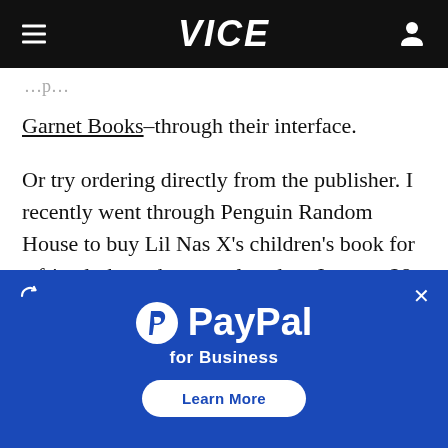VICE
Garnet Books–through their interface.
Or try ordering directly from the publisher. I recently went through Penguin Random House to buy Lil Nas X's children's book for a friend; the order was placed on January 28, shipped on January 29, and arrived on February 3.
[Figure (screenshot): PayPal for Business advertisement banner with blue background, PayPal logo, 'for Business' text, and 'Learn More' button]